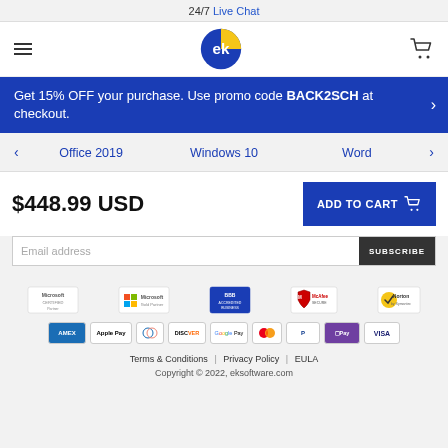24/7 Live Chat
[Figure (logo): EK Software logo - blue and yellow circle with 'ek' letters, navigation bar with hamburger menu and cart icon]
Get 15% OFF your purchase. Use promo code BACK2SCH at checkout.
Office 2019
Windows 10
Word
$448.99 USD
ADD TO CART
Email address
SUBSCRIBE
[Figure (logo): Trust badges: Microsoft Certified, Microsoft Gold Partner, BBB Accredited Business, McAfee Secure, Norton by Symantec]
[Figure (logo): Payment icons: Amex, Apple Pay, Diners, Discover, Google Pay, Mastercard, PayPal, Samsung Pay, Visa]
Terms & Conditions | Privacy Policy | EULA
Copyright © 2022, eksoftware.com